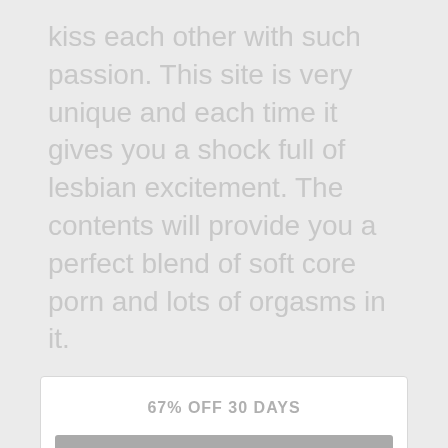kiss each other with such passion. This site is very unique and each time it gives you a shock full of lesbian excitement. The contents will provide you a perfect blend of soft core porn and lots of orgasms in it.
67% OFF 30 DAYS
$9.95 for 1 month
Coupon Code -> ADULTIXE
JOIN NOW